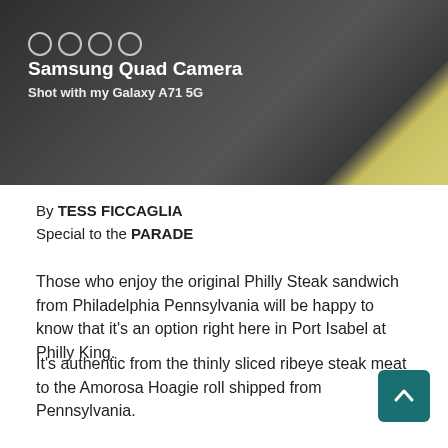[Figure (photo): Dark textured background photo (close-up of dark material/fur with a yellow element on right side) with Samsung Quad Camera overlay text reading 'Samsung Quad Camera / Shot with my Galaxy A71 5G' and camera mode icons at top left]
By TESS FICCAGLIA
Special to the PARADE
Those who enjoy the original Philly Steak sandwich from Philadelphia Pennsylvania will be happy to know that it’s an option right here in Port Isabel at Philly King.
It’s authentic from the thinly sliced ribeye steak meat to the Amorosa Hoagie roll shipped from Pennsylvania.
Dale and Jennifer Mamian, the owners of Philly King, have been in the food service industry for 35 years. In July they decided to find the perfect location for their ultim sandwich shop.